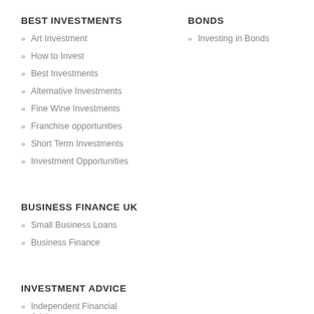BEST INVESTMENTS
Art Investment
How to Invest
Best Investments
Alternative Investments
Fine Wine Investments
Franchise opportunities
Short Term Investments
Investment Opportunities
BONDS
Investing in Bonds
BUSINESS FINANCE UK
Small Business Loans
Business Finance
INVESTMENT ADVICE
Independent Financial Advisors